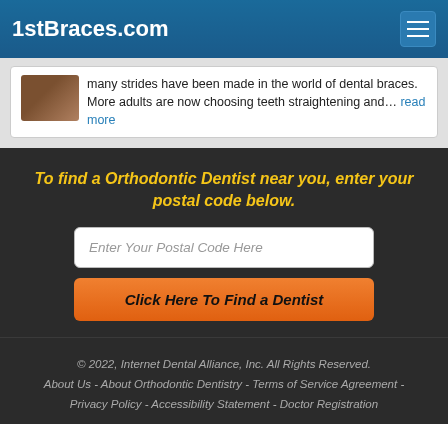1stBraces.com
many strides have been made in the world of dental braces. More adults are now choosing teeth straightening and... read more
To find a Orthodontic Dentist near you, enter your postal code below.
Enter Your Postal Code Here
Click Here To Find a Dentist
© 2022, Internet Dental Alliance, Inc. All Rights Reserved. About Us - About Orthodontic Dentistry - Terms of Service Agreement - Privacy Policy - Accessibility Statement - Doctor Registration